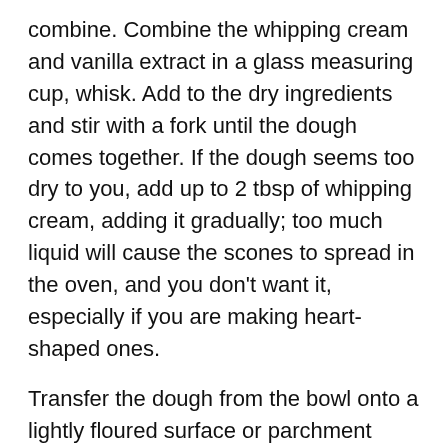combine. Combine the whipping cream and vanilla extract in a glass measuring cup, whisk. Add to the dry ingredients and stir with a fork until the dough comes together. If the dough seems too dry to you, add up to 2 tbsp of whipping cream, adding it gradually; too much liquid will cause the scones to spread in the oven, and you don't want it, especially if you are making heart-shaped ones.
Transfer the dough from the bowl onto a lightly floured surface or parchment paper (I don't like to use flour with the chocolate dough, so I prefer the parchment). Knead the dough lightly, folding and flattening it several times. Pat (or roll) the dough into a disk, approximately ½ – inch thick. Using a heart-shaped or round biscuit cutter (about 2−2 ½ - inch in diameter), dipped in flour to prevent sticking, cut as many scones as you can. Do not